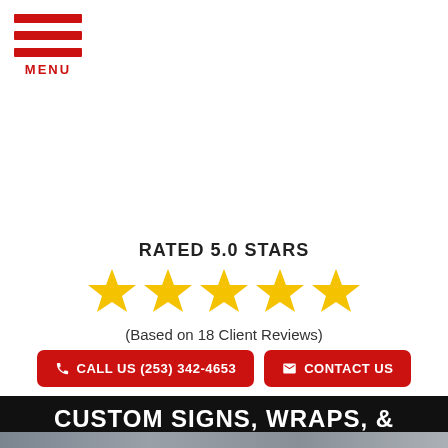[Figure (logo): Red hamburger menu icon with three horizontal red bars and MENU text below in red]
RATED 5.0 STARS
[Figure (illustration): Five gold/yellow star icons representing a 5-star rating]
(Based on 18 Client Reviews)
CALL US (253) 342-4653
CONTACT US
CUSTOM SIGNS, WRAPS, & GRAPHICS
[Figure (photo): Background photo showing a Starbucks Coffee building exterior and a bookstore/retail store, partially visible]
GET A FREE QUOTE